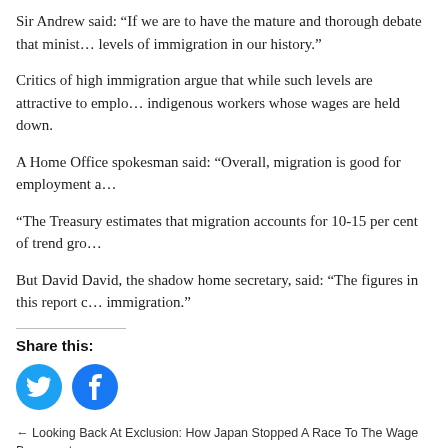Sir Andrew said: “If we are to have the mature and thorough debate that minist… levels of immigration in our history.”
Critics of high immigration argue that while such levels are attractive to emplo… indigenous workers whose wages are held down.
A Home Office spokesman said: “Overall, migration is good for employment a…
“The Treasury estimates that migration accounts for 10-15 per cent of trend gro…
But David Davis, the shadow home secretary, said: “The figures in this report c… immigration.”
Share this:
[Figure (illustration): Twitter and Facebook social share icons (circular blue buttons with bird and f logos)]
← Looking Back At Exclusion: How Japan Stopped A Race To The Wage Basement By Preventing Its Labourers From Migrating To Canada and The U.S. In 1900 (Findi… 1901 Royal Commission Report on Japanese Immigration.)